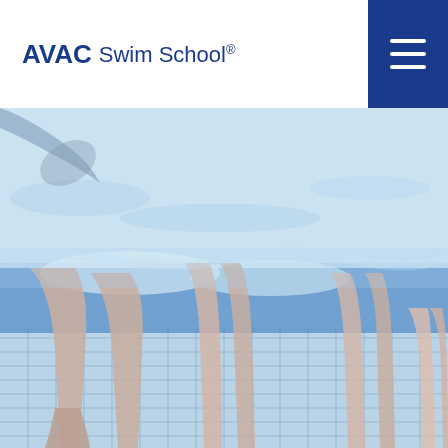AVAC Swim School®
[Figure (photo): Underwater view of children and an adult standing in a swimming pool, with blue tiled pool walls visible in the background. The image is slightly blurred showing legs and feet in the water.]